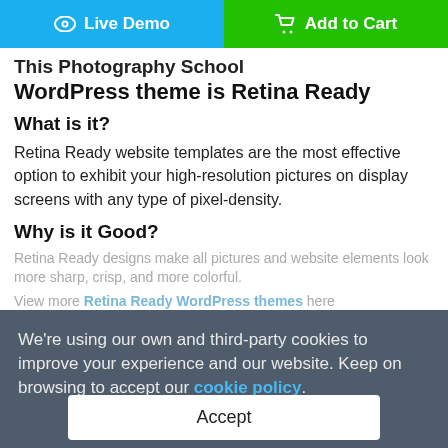[Figure (screenshot): Two buttons: 'Live Demo' (blue, with eye icon) and 'Add to Cart' (green, with cart icon)]
This Photography School WordPress theme is Retina Ready
What is it?
Retina Ready website templates are the most effective option to exhibit your high-resolution pictures on display screens with any type of pixel-density.
Why is it Good?
Retina Ready designs make all pictures and website elements look more sharp, crisp, and more colorful.
View more Retina Ready WordPress themes here
We're using our own and third-party cookies to improve your experience and our website. Keep on browsing to accept our cookie policy.
Accept